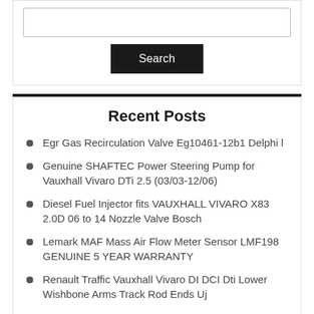[Figure (screenshot): Search bar input field with a black Search button below it]
Recent Posts
Egr Gas Recirculation Valve Eg10461-12b1 Delphi l
Genuine SHAFTEC Power Steering Pump for Vauxhall Vivaro DTi 2.5 (03/03-12/06)
Diesel Fuel Injector fits VAUXHALL VIVARO X83 2.0D 06 to 14 Nozzle Valve Bosch
Lemark MAF Mass Air Flow Meter Sensor LMF198 GENUINE 5 YEAR WARRANTY
Renault Traffic Vauxhall Vivaro DI DCI Dti Lower Wishbone Arms Track Rod Ends Uj